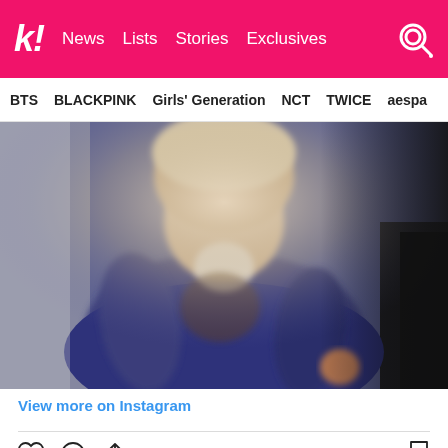k! News  Lists  Stories  Exclusives
BTS  BLACKPINK  Girls' Generation  NCT  TWICE  aespa
[Figure (photo): Blurry photo of a person wearing a navy blue graphic sweatshirt, face not fully visible, sitting in a vehicle]
View more on Instagram
131,407 likes
williamhammington
오늘 아빠랑 드디어 드라이브~신나게 같이 드디어갔어??오오
view all 2,158 comments